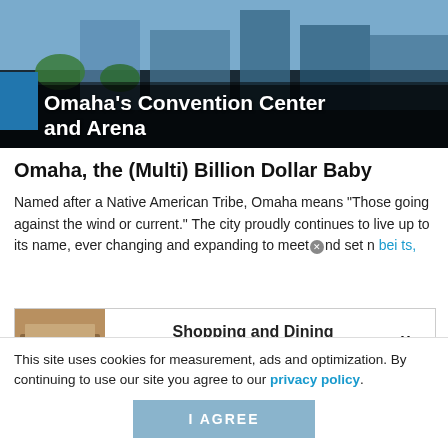[Figure (photo): Omaha's Convention Center and Arena building exterior with trees and urban landscape]
Omaha's Convention Center and Arena
Omaha, the (Multi) Billion Dollar Baby
Named after a Native American Tribe, Omaha means "Those going against the wind or current." The city proudly continues to live up to its name, ever changing and expanding to meet and set ... being ... ts,
[Figure (screenshot): Advertisement banner: Shopping and Dining - VISIT TODAY with image of shopping center]
This site uses cookies for measurement, ads and optimization. By continuing to use our site you agree to our privacy policy.
I AGREE